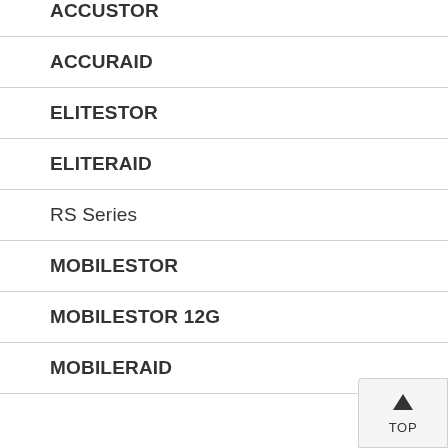ACCUSTOR
ACCURAID
ELITESTOR
ELITERAID
RS Series
MOBILESTOR
MOBILESTOR 12G
MOBILERAID